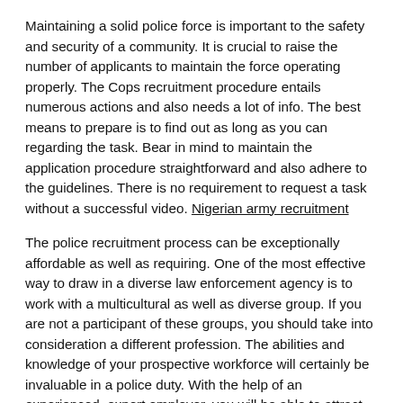Maintaining a solid police force is important to the safety and security of a community. It is crucial to raise the number of applicants to maintain the force operating properly. The Cops recruitment procedure entails numerous actions and also needs a lot of info. The best means to prepare is to find out as long as you can regarding the task. Bear in mind to maintain the application procedure straightforward and also adhere to the guidelines. There is no requirement to request a task without a successful video. Nigerian army recruitment
The police recruitment process can be exceptionally affordable as well as requiring. One of the most effective way to draw in a diverse law enforcement agency is to work with a multicultural as well as diverse group. If you are not a participant of these groups, you should take into consideration a different profession. The abilities and knowledge of your prospective workforce will certainly be invaluable in a police duty. With the help of an experienced, expert employer, you will be able to attract more candidates than ever.